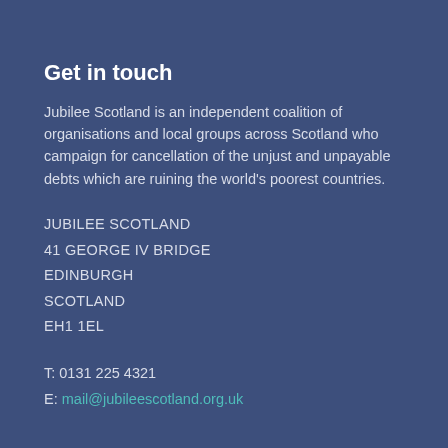Get in touch
Jubilee Scotland is an independent coalition of organisations and local groups across Scotland who campaign for cancellation of the unjust and unpayable debts which are ruining the world's poorest countries.
JUBILEE SCOTLAND
41 GEORGE IV BRIDGE
EDINBURGH
SCOTLAND
EH1 1EL
T: 0131 225 4321
E: mail@jubileescotland.org.uk